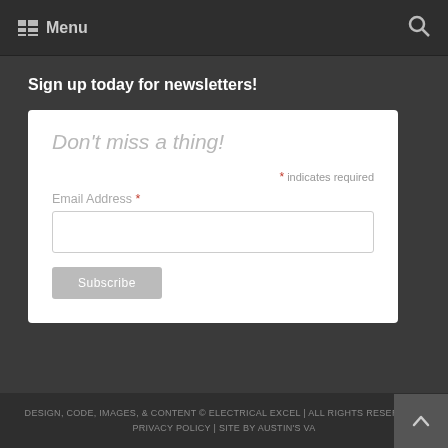Menu
Sign up today for newsletters!
Don't miss a thing!
* indicates required
Email Address *
Subscribe
DESIGN, CODE, IMAGES, & CONTENT © ELECTRICAL EXCEL | ALL RIGHTS RESERVED | PRIVACY POLICY | SITE BY AUSTIN'S VA